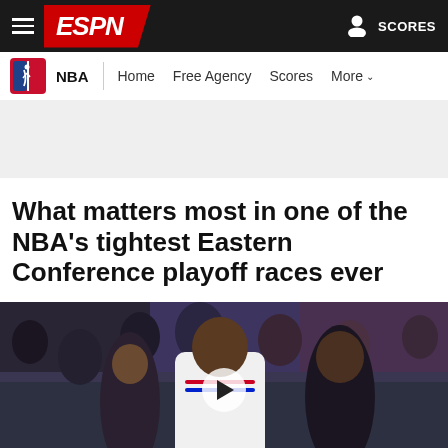ESPN — NBA navigation bar
[Figure (screenshot): ESPN website top navigation bar with hamburger menu, ESPN logo in red, and SCORES link on the right]
[Figure (screenshot): NBA sub-navigation bar with NBA logo, NBA label, and links: Home, Free Agency, Scores, More]
[Figure (other): Advertisement banner area, light gray background]
What matters most in one of the NBA's tightest Eastern Conference playoff races ever
[Figure (photo): Basketball players including Joel Embiid in a white Philadelphia 76ers jersey on the court, with fans in the background. A video play button overlay is visible in the center.]